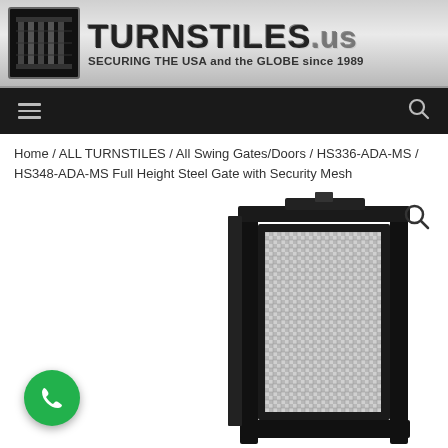TURNSTILES.us — SECURING THE USA and the GLOBE since 1989
Home / ALL TURNSTILES / All Swing Gates/Doors / HS336-ADA-MS / HS348-ADA-MS Full Height Steel Gate with Security Mesh
[Figure (photo): Full height steel gate with security mesh panel, black powder-coated finish, shown from front angle with mesh visible.]